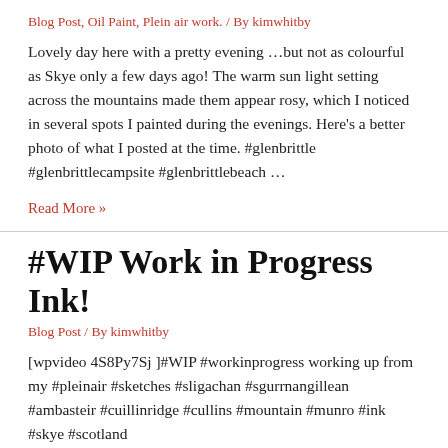Blog Post, Oil Paint, Plein air work. / By kimwhitby
Lovely day here with a pretty evening …but not as colourful as Skye only a few days ago! The warm sun light setting across the mountains made them appear rosy, which I noticed in several spots I painted during the evenings. Here's a better photo of what I posted at the time. #glenbrittle #glenbrittlecampsite #glenbrittlebeach …
Read More »
#WIP Work in Progress Ink!
Blog Post / By kimwhitby
[wpvideo 4S8Py7Sj ]#WIP #workinprogress working up from my #pleinair #sketches #sligachan #sgurrnangillean #ambasteir #cuillinridge #cullins #mountain #munro #ink #skye #scotland